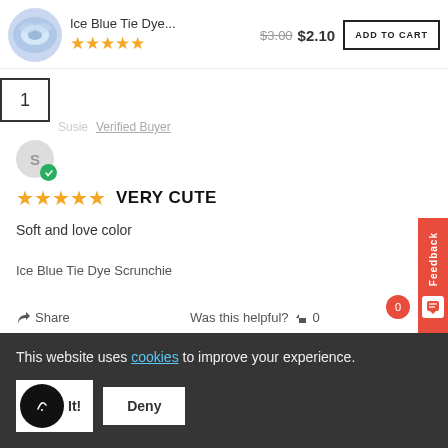[Figure (screenshot): E-commerce product page screenshot showing Ice Blue Tie Dye scrunchie with price, add to cart button, customer review, cookie consent banner]
Ice Blue Tie Dye...
$3.00 $2.10
ADD TO CART
1
Susie  Verified Buyer
VERY CUTE
Soft and love color
Ice Blue Tie Dye Scrunchie
Share
Was this helpful?  0
Feedback
Sonia  Verified Buyer  09/27/2021
This website uses cookies to improve your experience.
It!
Deny